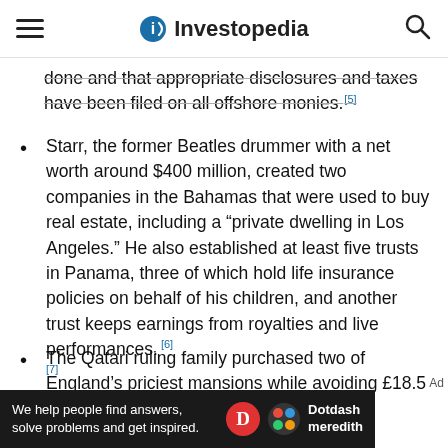Investopedia
done and that appropriate disclosures and taxes have been filed on all offshore monies. [5]
Starr, the former Beatles drummer with a net worth around $400 million, created two companies in the Bahamas that were used to buy real estate, including a “private dwelling in Los Angeles.” He also established at least five trusts in Panama, three of which hold life insurance policies on behalf of his children, and another trust keeps earnings from royalties and live performances. [6] [7]
The Qatari ruling family purchased two of England’s priciest mansions while avoiding £18.5 million ($25.4 million at the time) in taxes due [8]